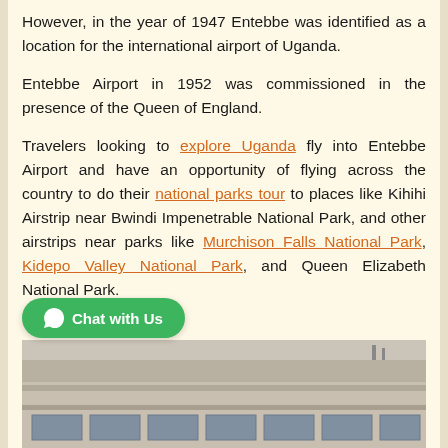However, in the year of 1947 Entebbe was identified as a location for the international airport of Uganda.
Entebbe Airport in 1952 was commissioned in the presence of the Queen of England.
Travelers looking to explore Uganda fly into Entebbe Airport and have an opportunity of flying across the country to do their national parks tour to places like Kihihi Airstrip near Bwindi Impenetrable National Park, and other airstrips near parks like Murchison Falls National Park, Kidepo Valley National Park, and Queen Elizabeth National Park.
[Figure (photo): Photo of the exterior of Entebbe Airport building, showing a modern facade with horizontal stripes and windows.]